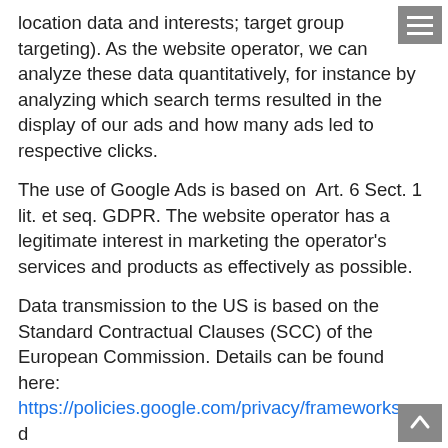location data and interests; target group targeting). As the website operator, we can analyze these data quantitatively, for instance by analyzing which search terms resulted in the display of our ads and how many ads led to respective clicks.
The use of Google Ads is based on  Art. 6 Sect. 1 lit. et seq. GDPR. The website operator has a legitimate interest in marketing the operator's services and products as effectively as possible.
Data transmission to the US is based on the Standard Contractual Clauses (SCC) of the European Commission. Details can be found here: https://policies.google.com/privacy/frameworks and https://privacy.google.com/businesses/controllerterms/mccs/.